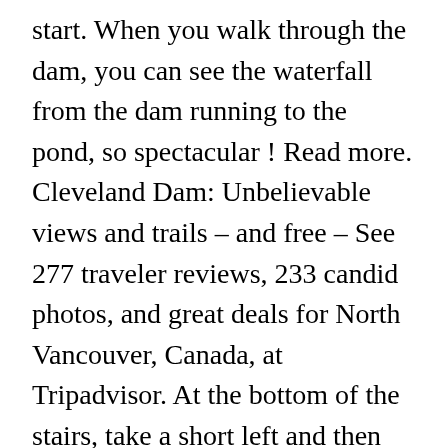start. When you walk through the dam, you can see the waterfall from the dam running to the pond, so spectacular ! Read more. Cleveland Dam: Unbelievable views and trails – and free – See 277 traveler reviews, 233 candid photos, and great deals for North Vancouver, Canada, at Tripadvisor. At the bottom of the stairs, take a short left and then climb over a ... You can walk right across it onto the trail on the other side or just stick with one of the trails nearest the parking lot or head on down the Palisades and then Pipeline trail to the salmon hatchery or even toward the Capilano Suspension Bridge. Trail is a 4,180 m less popular green singletrack trail located near Harara, Cleveland Dam: